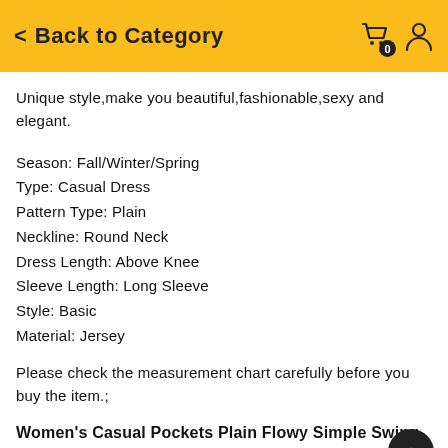Back to Category
Unique style,make you beautiful,fashionable,sexy and elegant.
Season: Fall/Winter/Spring
Type: Casual Dress
Pattern Type: Plain
Neckline: Round Neck
Dress Length: Above Knee
Sleeve Length: Long Sleeve
Style: Basic
Material: Jersey
Please check the measurement chart carefully before you buy the item.;
Women's Casual Pockets Plain Flowy Simple Swing T-shirt Loose Dress Size Chart